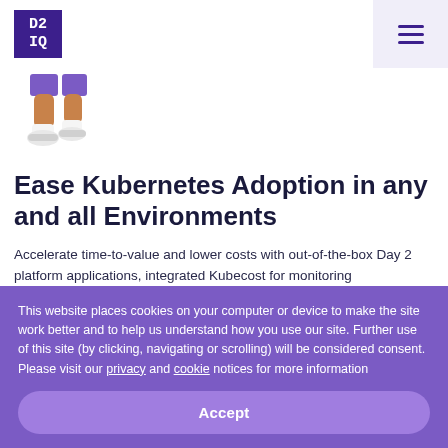[Figure (logo): D2IQ logo — dark purple square with white monospace text 'D2 IQ']
[Figure (illustration): Illustrated character legs wearing purple shorts and white sneakers, walking]
Ease Kubernetes Adoption in any and all Environments
Accelerate time-to-value and lower costs with out-of-the-box Day 2 platform applications, integrated Kubecost for monitoring infrastructure spend in real-time, and Cluster API-based autoscaling for better resource optimization.
This website places cookies on your computer or device to make the site work better and to help us understand how you use our site. Further use of this site (by clicking, navigating or scrolling) will be considered consent. Please visit our privacy and cookie notices for more information
Accept